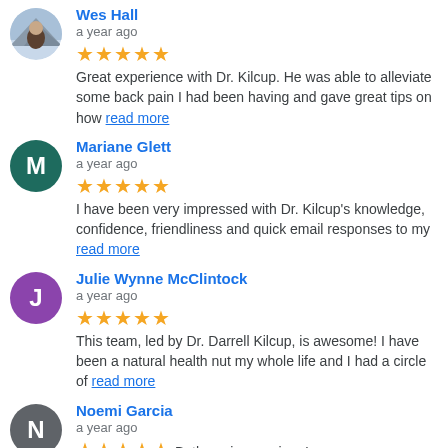Wes Hall — a year ago — 5 stars — Great experience with Dr. Kilcup. He was able to alleviate some back pain I had been having and gave great tips on how read more
Mariane Glett — a year ago — 5 stars — I have been very impressed with Dr. Kilcup's knowledge, confidence, friendliness and quick email responses to my read more
Julie Wynne McClintock — a year ago — 5 stars — This team, led by Dr. Darrell Kilcup, is awesome! I have been a natural health nut my whole life and I had a circle of read more
Noemi Garcia — a year ago — 5 stars — Bethany is amazing, I was